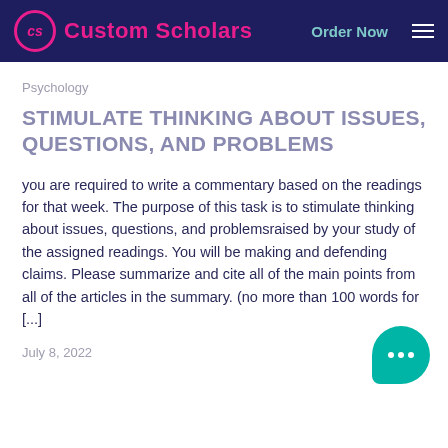Custom Scholars | Order Now
Psychology
STIMULATE THINKING ABOUT ISSUES, QUESTIONS, AND PROBLEMS
you are required to write a commentary based on the readings for that week. The purpose of this task is to stimulate thinking about issues, questions, and problemsraised by your study of the assigned readings. You will be making and defending claims. Please summarize and cite all of the main points from all of the articles in the summary. (no more than 100 words for [...]
July 8, 2022